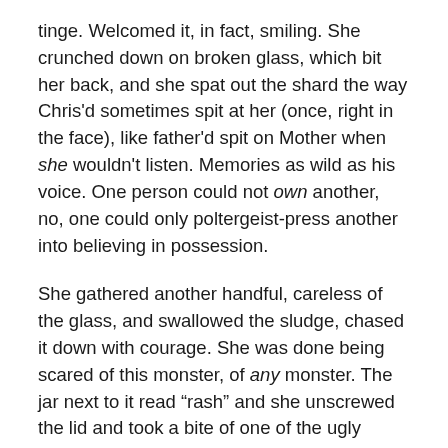tinge. Welcomed it, in fact, smiling. She crunched down on broken glass, which bit her back, and she spat out the shard the way Chris'd sometimes spit at her (once, right in the face), like father'd spit on Mother when she wouldn't listen. Memories as wild as his voice. One person could not own another, no, one could only poltergeist-press another into believing in possession.
She gathered another handful, careless of the glass, and swallowed the sludge, chased it down with courage. She was done being scared of this monster, of any monster. The jar next to it read “rash” and she unscrewed the lid and took a bite of one of the ugly greenish things inside (dash of rash, sang Aggie). She opened more jars: a pinch of power, stalks of strength.
There was a twinkling in the creature's eyes preying upon